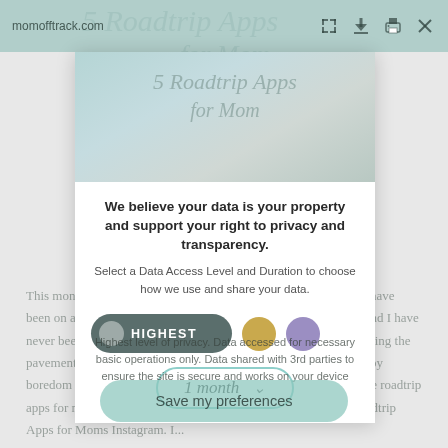[Figure (screenshot): Screenshot of a privacy consent modal dialog overlaid on a blog page (momofftrack.com). The background shows a road trip blog article with faded text. The modal has a browser toolbar at the top with URL and icons, then a modal card with a landscape image header showing italic title '5 Roadtrip Apps for Mom', bold heading 'We believe your data is your property and support your right to privacy and transparency.', subtext 'Select a Data Access Level and Duration to choose how we use and share your data.', a dark toggle set to HIGHEST with gold and lavender dots, a '1 month' dropdown selector, and a tooltip about Highest level of privacy. A green 'Save my preferences' button appears at the bottom overlaid on the article text.]
We believe your data is your property and support your right to privacy and transparency.
Select a Data Access Level and Duration to choose how we use and share your data.
1 month
Highest level of privacy. Data accessed for necessary basic operations only. Data shared with 3rd parties to ensure the site is secure and works on your device
This month we have spent every week on the road. Like, literally, have been on a major trip every week of August. My Samsung Note 3 and I have never been so close. We've spent a lot of long hours together watching the pavement pass. So how did my phone save me from certain death by boredom while on these fabulously scenic roads? Read on for some roadtrip apps for moms that will make your phone your next BFF. Top Roadtrip Apps for Moms Instagram. I...
Save my preferences